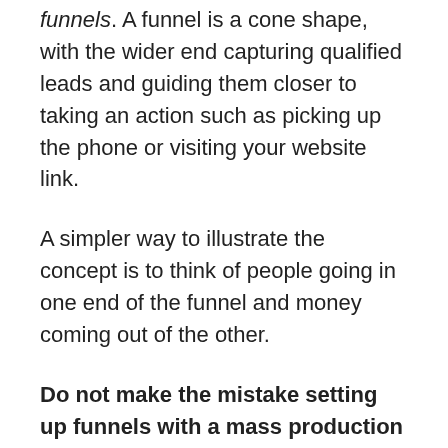funnels. A funnel is a cone shape, with the wider end capturing qualified leads and guiding them closer to taking an action such as picking up the phone or visiting your website link.
A simpler way to illustrate the concept is to think of people going in one end of the funnel and money coming out of the other.
Do not make the mistake setting up funnels with a mass production factory mentality.
Each free business directory you register for needs to be set up with care and attention.